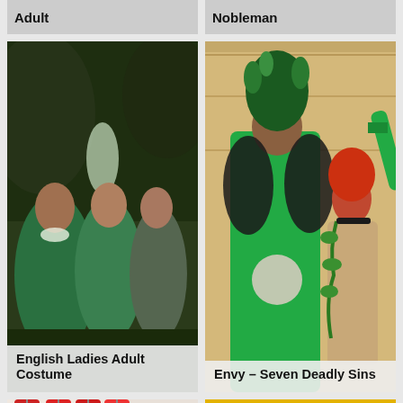Adult
Nobleman
[Figure (photo): Three women dressed in green English ladies costumes at a party]
English Ladies Adult Costume
[Figure (photo): Two people in Envy Seven Deadly Sins costumes — one in green bodysuit with snake/feather headdress, one in ivy-covered outfit with red hair]
Envy – Seven Deadly Sins
[Figure (photo): Person in red costume with fur hat in a costume shop]
[Figure (photo): Two people wearing Rastafarian-style hats in yellow room]